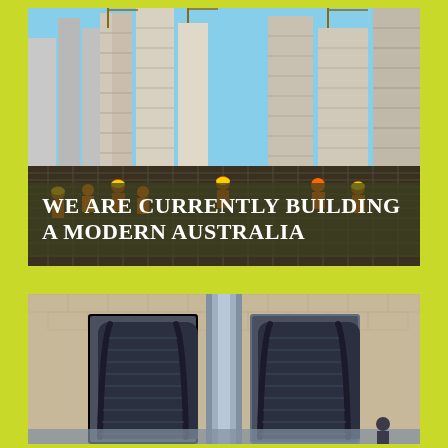[Figure (photo): Construction site with workers in orange high-visibility gear working on rebar/steel reinforcement in the foreground, with multiple tall skyscrapers under construction in the background against a blue sky.]
WE ARE CURRENTLY BUILDING A MODERN AUSTRALIA
[Figure (photo): Interior of a building showing escalators with modern metallic and tiled architecture, viewed from below looking up.]